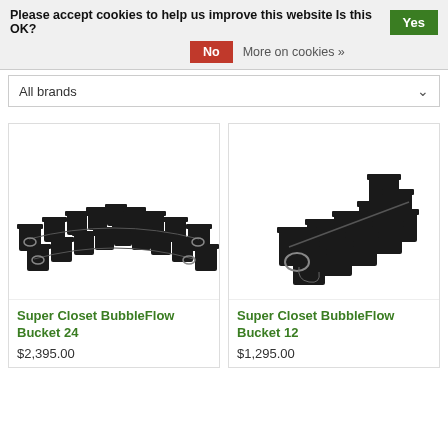Please accept cookies to help us improve this website Is this OK? Yes
No  More on cookies »
All brands
[Figure (photo): Super Closet BubbleFlow Bucket 24 hydroponic system with multiple black buckets arranged in a V-shape]
Super Closet BubbleFlow Bucket 24
$2,395.00
[Figure (photo): Super Closet BubbleFlow Bucket 12 hydroponic system with black buckets arranged in a row]
Super Closet BubbleFlow Bucket 12
$1,295.00